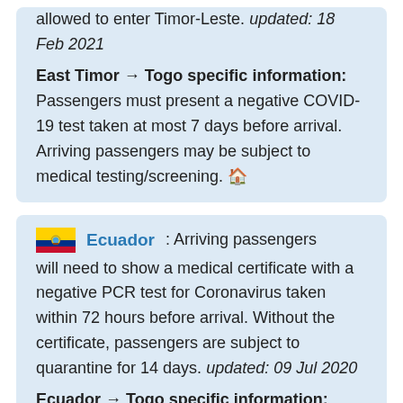allowed to enter Timor-Leste. updated: 18 Feb 2021
East Timor → Togo specific information: Passengers must present a negative COVID-19 test taken at most 7 days before arrival. Arriving passengers may be subject to medical testing/screening.
Ecuador: Arriving passengers will need to show a medical certificate with a negative PCR test for Coronavirus taken within 72 hours before arrival. Without the certificate, passengers are subject to quarantine for 14 days. updated: 09 Jul 2020
Ecuador → Togo specific information: Passengers must present a negative